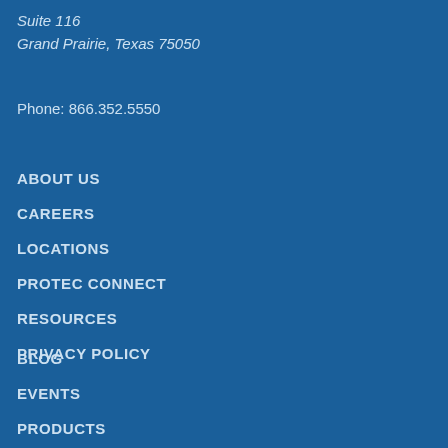Suite 116
Grand Prairie, Texas 75050
Phone:  866.352.5550
ABOUT US
CAREERS
LOCATIONS
PROTEC CONNECT
RESOURCES
PRIVACY POLICY
BLOG
EVENTS
PRODUCTS
RENTAL AGREEMENT